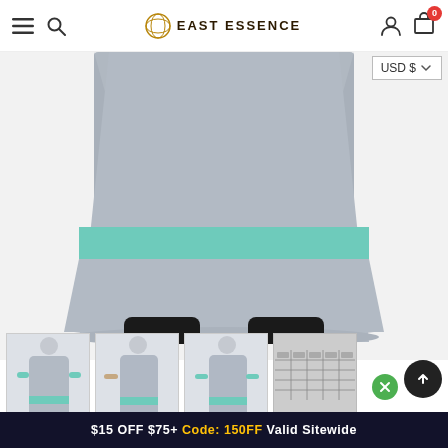East Essence navigation bar with hamburger menu, search, logo, user icon, and cart (0)
[Figure (photo): Close-up of lower portion of a grey modest maxi dress/abaya with a teal/mint horizontal stripe near the hem, worn by a child model with black shoes visible at the bottom, on white background]
[Figure (photo): Thumbnail 1: Full view of girl wearing grey long sleeve modest dress with teal cuffs and hem stripe]
[Figure (photo): Thumbnail 2: Full view of girl wearing grey modest dress, side angle]
[Figure (photo): Thumbnail 3: Full view of girl wearing grey modest dress, front view]
[Figure (table-as-image): Size chart thumbnail showing a table with size measurements]
USD $ (currency selector dropdown)
$15 OFF $75+ Code: 150FF Valid Sitewide